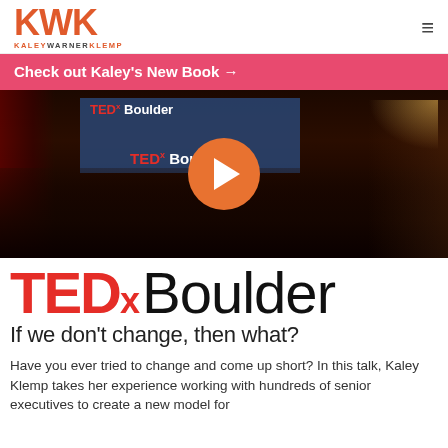KWK KALEY WARNER KLEMP
Check out Kaley's New Book →
[Figure (photo): TEDx Boulder event photo showing a large audience in an ornate venue with a stage displaying TEDx Boulder signage, with a large orange play button overlay indicating a video]
TEDx Boulder
If we don't change, then what?
Have you ever tried to change and come up short? In this talk, Kaley Klemp takes her experience working with hundreds of senior executives to create a new model for